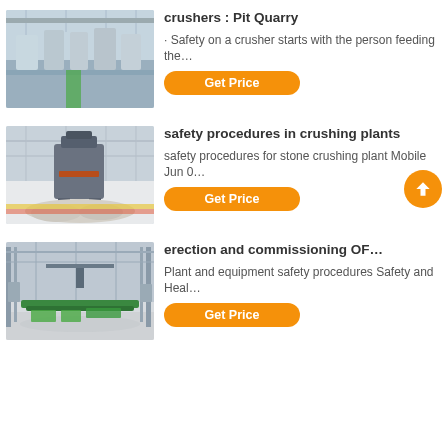[Figure (photo): Industrial factory floor with rows of large machinery (crushers/mills) in a manufacturing plant]
crushers : Pit Quarry
· Safety on a crusher starts with the person feeding the…
[Figure (photo): Industrial crushing machine in a factory setting surrounded by crushed stone/gravel materials]
safety procedures in crushing plants
safety procedures for stone crushing plant Mobile Jun 0…
[Figure (photo): Large industrial plant interior with green structural components and wide floor space]
erection and commissioning OF…
Plant and equipment safety procedures Safety and Heal…